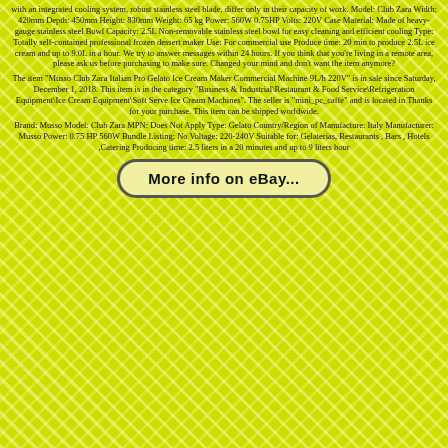with an integrated cooling system, robust stainless steel blade, differ only in their capacity of work. Model: Club Zara Width: 420mm Depth: 450mm Height: 830mm Weight: 65 kg Power: 560W 0.75HP Volts: 220V Case Material: Made of heavy-gauge stainless steel Bowl Capacity: 2.5L Non-removable stainless steel bowl for easy cleaning and efficient cooling Type: Totally self-contained professional frozen dessert maker Use: For commercial use Produce time: 20 min to produce 2.5L ice cream and up to 9.0L in a hour. We try to answer messages within 24 hours. If you think that you're living in a remote area, please ask us before purchasing to make sure. Changed your mind and don't want the item anymore?
The item "Musso Club Zara Italian Pro Gelato Ice Cream Maker Commercial Machine 9L/h 220V" is in sale since Saturday, December 1, 2018. This item is in the category "Business & Industrial\Restaurant & Food Service\Refrigeration Equipment\Ice Cream Equipment\Soft Serve Ice Cream Machines". The seller is "mini_pc_caffe" and is located in Thanks for your purchase. This item can be shipped worldwide.
Brand: Musso Model: Club Zara MPN: Does Not Apply Type: Gelato Country/Region of Manufacture: Italy Manufacturer: Musso Power: 0.75 HP 560W Bundle Listing: No Voltage: 220-240V Suitable for: Gelaterias, Restaurants , Bars , Hotels ,Catering Producing time: 2.5 liters in a 20 minutes and up to 9 liters hour
[Figure (other): Button/link styled element with rounded rectangle border reading 'More info on eBay...']